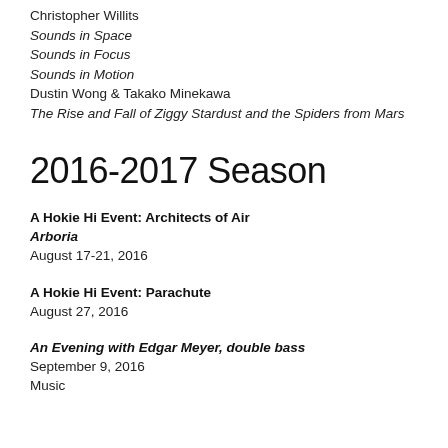Christopher Willits
Sounds in Space
Sounds in Focus
Sounds in Motion
Dustin Wong & Takako Minekawa
The Rise and Fall of Ziggy Stardust and the Spiders from Mars
2016-2017 Season
A Hokie Hi Event: Architects of Air
Arboria
August 17-21, 2016
A Hokie Hi Event: Parachute
August 27, 2016
An Evening with Edgar Meyer, double bass
September 9, 2016
Music